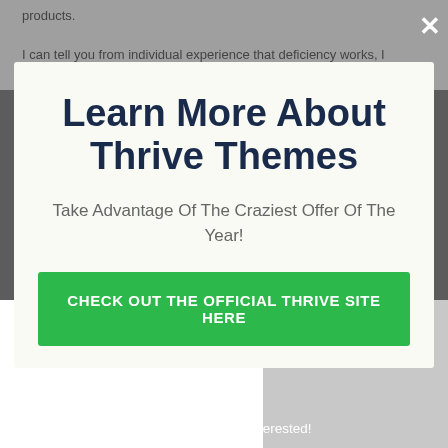products.
I can tell you from individual experience that deficiency works, I also it is an expression. Rant have individual do not started
Learn More About Thrive Themes
Take Advantage Of The Craziest Offer Of The Year!
CHECK OUT THE OFFICIAL THRIVE SITE HERE
WordPress Themes & Plugins
Thrive Themes & from the process you and website section every of your results, the subscribers craftsmen & alerts.
No thanks, I'm not interested!